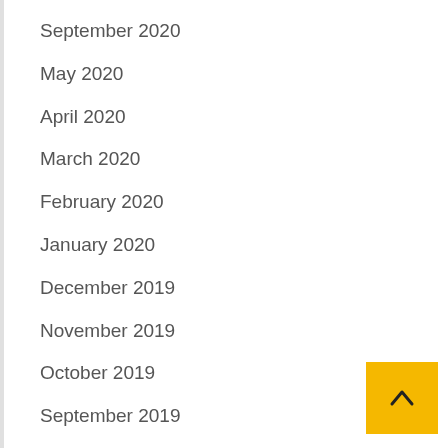September 2020
May 2020
April 2020
March 2020
February 2020
January 2020
December 2019
November 2019
October 2019
September 2019
August 2019
July 2019
June 2019
May 2019